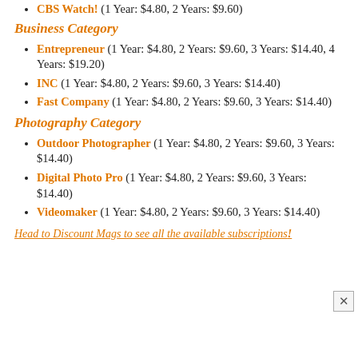CBS Watch! (1 Year: $4.80, 2 Years: $9.60)
Business Category
Entrepreneur (1 Year: $4.80, 2 Years: $9.60, 3 Years: $14.40, 4 Years: $19.20)
INC (1 Year: $4.80, 2 Years: $9.60, 3 Years: $14.40)
Fast Company (1 Year: $4.80, 2 Years: $9.60, 3 Years: $14.40)
Photography Category
Outdoor Photographer (1 Year: $4.80, 2 Years: $9.60, 3 Years: $14.40)
Digital Photo Pro (1 Year: $4.80, 2 Years: $9.60, 3 Years: $14.40)
Videomaker (1 Year: $4.80, 2 Years: $9.60, 3 Years: $14.40)
Head to Discount Mags to see all the available subscriptions!